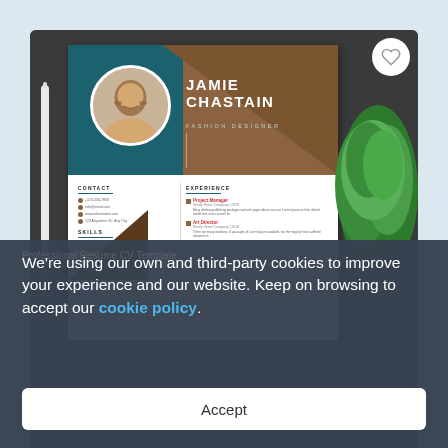[Figure (screenshot): Resume/CV template preview for Jamie Chastain, Fashion Designer, shown on a dark background with a pen and plant prop. The resume shows CONTACT and EXPERIENCE sections with skills.]
We're using our own and third-party cookies to improve your experience and our website. Keep on browsing to accept our cookie policy.
Accept